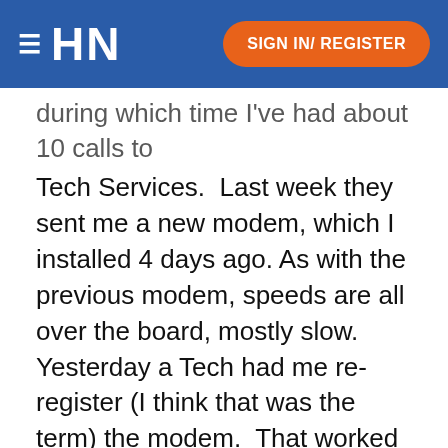≡ HN  SIGN IN/ REGISTER
during which time I've had about 10 calls to Tech Services.  Last week they sent me a new modem, which I installed 4 days ago. As with the previous modem, speeds are all over the board, mostly slow.  Yesterday a Tech had me re-register (I think that was the term) the modem.  That worked for the duration of the call & into the evening. Today, I'm right back to the poor speeds, currently at 2Mbps.
From the 1st day, I've been extremely disappointed with the responsiveness of the internet.  I realize some pages load slower than others, but I'm talking 30-30...